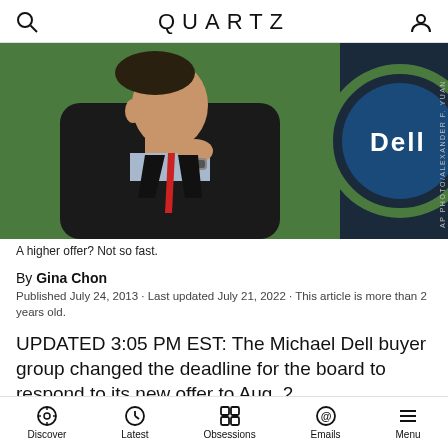QUARTZ
[Figure (photo): A man in a dark suit with red tie, seen in profile, holding his hand to his chin in a thoughtful pose, standing in front of a Dell logo backdrop with green and dark blue colors. AP Photo credit.]
A higher offer? Not so fast.
By Gina Chon
Published July 24, 2013 · Last updated July 21, 2022 · This article is more than 2 years old.
UPDATED 3:05 PM EST: The Michael Dell buyer group changed the deadline for the board to respond to its new offer to Aug. 2.
Discover | Latest | Obsessions | Emails | Menu